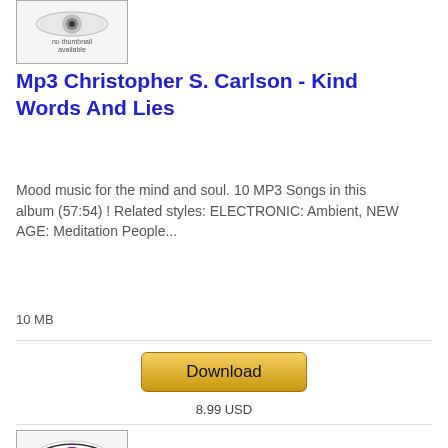[Figure (photo): Album thumbnail placeholder showing eye graphic with 'no thumbnail available' text]
Mp3 Christopher S. Carlson - Kind Words And Lies
Mood music for the mind and soul. 10 MP3 Songs in this album (57:54) ! Related styles: ELECTRONIC: Ambient, NEW AGE: Meditation People...
10 MB
[Figure (illustration): Download button - golden/yellow rounded rectangle button with text 'Download']
8.99 USD
[Figure (photo): Second album thumbnail showing a purple eye graphic with 'no thumbnail available' text]